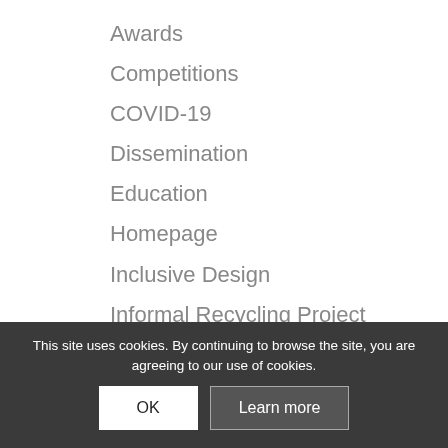Awards
Competitions
COVID-19
Dissemination
Education
Homepage
Inclusive Design
Informal Recycling Project
Internship/Immersion Programme
Kanyenathi Project
Law Project
Markets of Warwick
Maternal and Child Health
Occupational Health & Safety
Org…
Organisational Project
This site uses cookies. By continuing to browse the site, you are agreeing to our use of cookies.